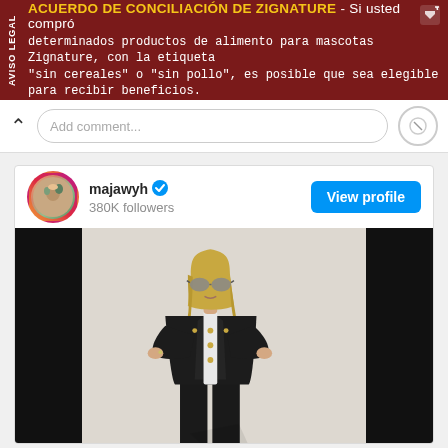[Figure (screenshot): Spanish-language legal advertisement banner with dark red background. Bold yellow text reads 'ACUERDO DE CONCILIACIÓN DE ZIGNATURE' followed by white body text about Zignature pet food products. Side label reads 'AVISO LEGAL'.]
[Figure (screenshot): Instagram profile card for user 'majawyh' with blue verified checkmark and 380K followers. Blue 'View profile' button. Below is a photo of a woman in a black blazer with gold buttons and sunglasses, arms crossed, standing against a neutral background. Image is shown with black bars on the sides.]